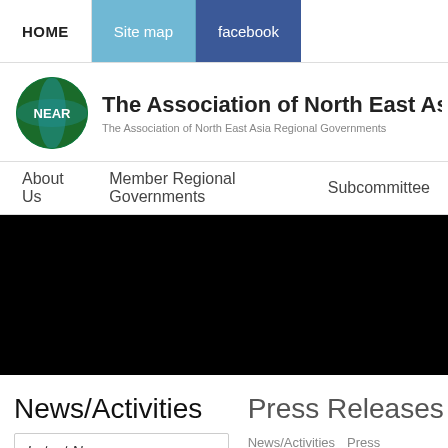HOME | Site map | facebook
The Association of North East Asia Regional
The Association of North East Asia Regional Governments
About Us  Member Regional Governments  Subcommittee
[Figure (other): Black hero banner image area]
News/Activities
Press Releases
News/Activities  Press
Latest News